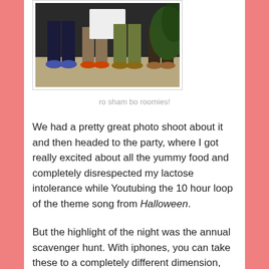[Figure (photo): Photo of people's legs and feet standing together, appears to be a group shot at a party or outdoor event]
ro sham bo roomies!
We had a pretty great photo shoot about it and then headed to the party, where I got really excited about all the yummy food and completely disrespected my lactose intolerance while Youtubing the 10 hour loop of the theme song from Halloween.
But the highlight of the night was the annual scavenger hunt. With iphones, you can take these to a completely different dimension, and my friends and I like to do them with photos and videos of things designed to embarrass you and solidify the stereotype of crazy loud obnoxious